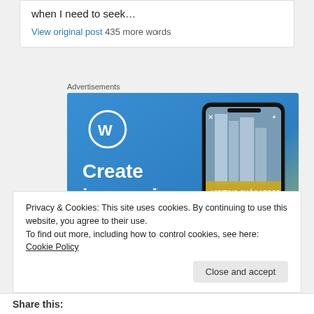when I need to seek…
View original post 435 more words
Advertisements
[Figure (illustration): WordPress advertisement banner with blue gradient background, WordPress logo (W in circle), text 'Create immersive stories.' on left side, and a smartphone showing a waterfall scene with 'VISITING SKÓGAFOSS' label on the right side.]
Privacy & Cookies: This site uses cookies. By continuing to use this website, you agree to their use.
To find out more, including how to control cookies, see here: Cookie Policy
Close and accept
Share this: